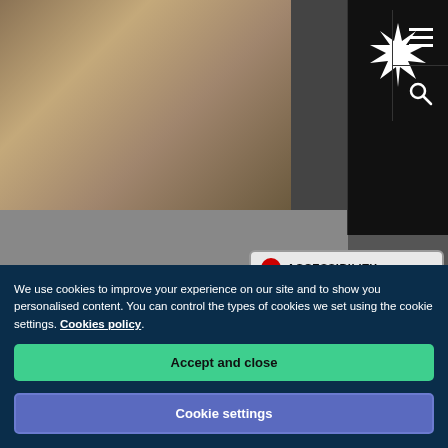[Figure (screenshot): University website screenshot showing a header photo with books/desk scene, black navigation bar with starburst logo, hamburger menu, and search icon, plus an accessibility button]
Professional Doctorate (DProf)
We use cookies to improve your experience on our site and to show you personalised content. You can control the types of cookies we set using the cookie settings. Cookies policy
Accept and close
Cookie settings